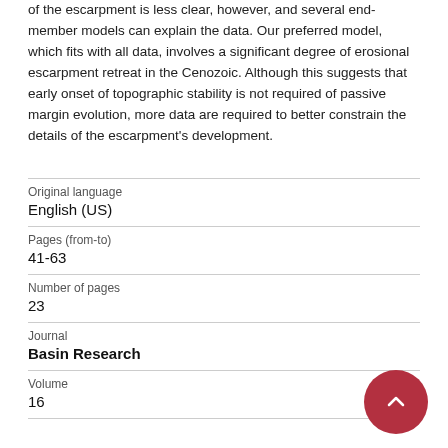of the escarpment is less clear, however, and several end-member models can explain the data. Our preferred model, which fits with all data, involves a significant degree of erosional escarpment retreat in the Cenozoic. Although this suggests that early onset of topographic stability is not required of passive margin evolution, more data are required to better constrain the details of the escarpment's development.
| Field | Value |
| --- | --- |
| Original language | English (US) |
| Pages (from-to) | 41-63 |
| Number of pages | 23 |
| Journal | Basin Research |
| Volume | 16 |